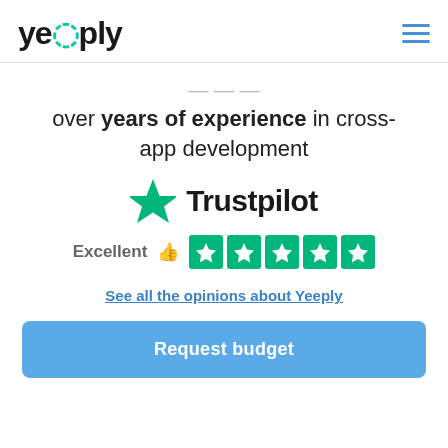yeeply
over years of experience in cross-app development
[Figure (logo): Trustpilot logo with green star and Trustpilot wordmark]
Excellent 👍 ★★★★★
See all the opinions about Yeeply
Request budget